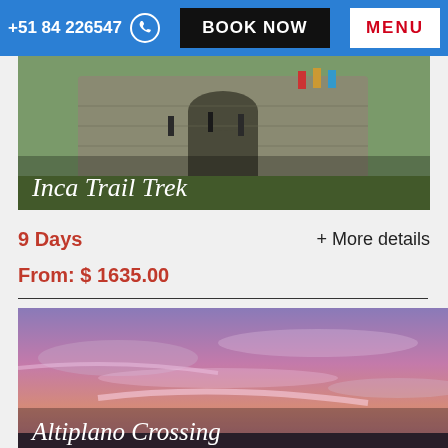+51 84 226547 | BOOK NOW | MENU
[Figure (photo): Stone ruins of an Inca site with people walking through archways and green hills in the background. Title overlay reads 'Inca Trail Trek'.]
Inca Trail Trek
9 Days
+ More details
From: $ 1635.00
[Figure (photo): Dramatic purple and pink sunset sky with wispy clouds over a wide landscape. Partial title text visible at bottom: 'Altiplano Crossing'.]
Altiplano Crossing